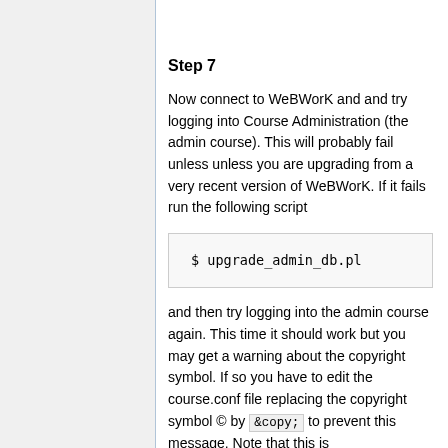Step 7
Now connect to WeBWorK and and try logging into Course Administration (the admin course). This will probably fail unless unless you are upgrading from a very recent version of WeBWorK. If it fails run the following script
$ upgrade_admin_db.pl
and then try logging into the admin course again. This time it should work but you may get a warning about the copyright symbol. If so you have to edit the course.conf file replacing the copyright symbol © by &copy; to prevent this message. Note that this is